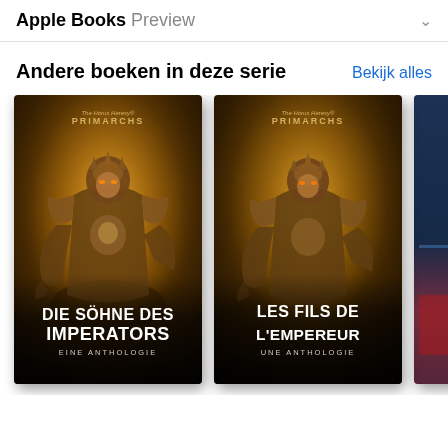Apple Books Preview
Andere boeken in deze serie
Bekijk alles
[Figure (photo): Book cover: Die Söhne des Imperators - Eine Anthologie, Horus Heresy Primarchs series. Shows an armored Space Marine warrior in golden/bronze armor against a warm brownish background.]
[Figure (photo): Book cover: Les Fils de L'Empereur - Une Anthologie, Horus Heresy Primarchs series. Shows an armored Space Marine warrior similar to the first cover.]
[Figure (photo): Partially visible third book cover showing blue and red colors.]